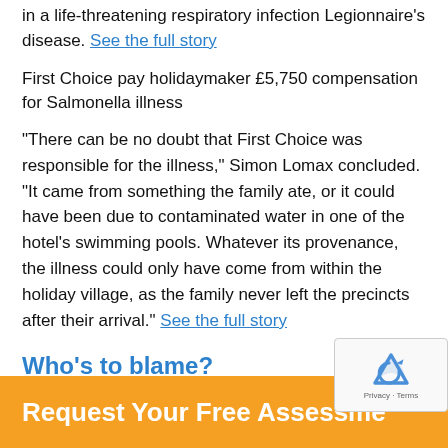in a life-threatening respiratory infection Legionnaire's disease. See the full story
First Choice pay holidaymaker £5,750 compensation for Salmonella illness
“There can be no doubt that First Choice was responsible for the illness,” Simon Lomax concluded. “It came from something the family ate, or it could have been due to contaminated water in one of the hotel’s swimming pools. Whatever its provenance, the illness could only have come from within the holiday village, as the family never left the precincts after their arrival.” See the full story
Who’s to blame?
Request Your Free Assessment